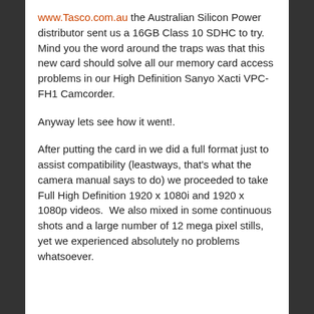www.Tasco.com.au the Australian Silicon Power distributor sent us a 16GB Class 10 SDHC to try. Mind you the word around the traps was that this new card should solve all our memory card access problems in our High Definition Sanyo Xacti VPC-FH1 Camcorder.
Anyway lets see how it went!.
After putting the card in we did a full format just to assist compatibility (leastways, that's what the camera manual says to do) we proceeded to take Full High Definition 1920 x 1080i and 1920 x 1080p videos.  We also mixed in some continuous shots and a large number of 12 mega pixel stills, yet we experienced absolutely no problems whatsoever.